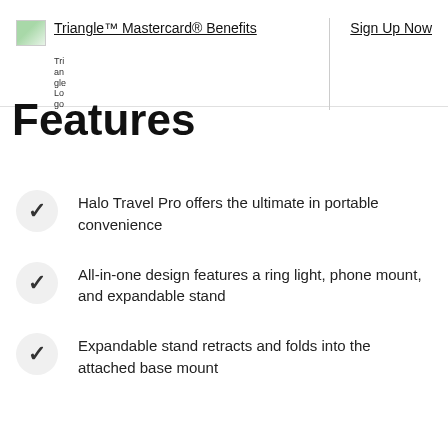Triangle™ Mastercard® Benefits | Sign Up Now
Features
Halo Travel Pro offers the ultimate in portable convenience
All-in-one design features a ring light, phone mount, and expandable stand
Expandable stand retracts and folds into the attached base mount